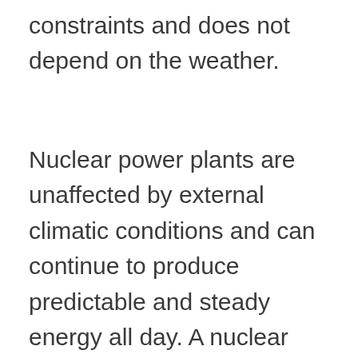constraints and does not depend on the weather.
Nuclear power plants are unaffected by external climatic conditions and can continue to produce predictable and steady energy all day. A nuclear power plant can produce energy non-stop for an entire year, allowing for a good return on investment as there are no delays in energy